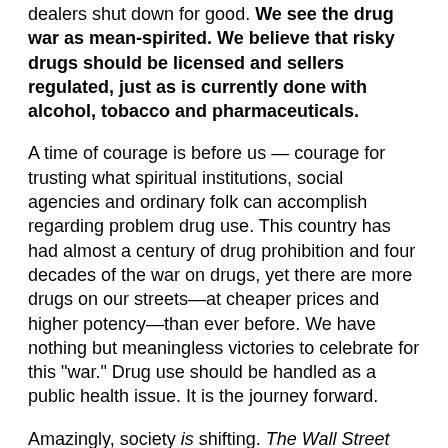dealers shut down for good. We see the drug war as mean-spirited. We believe that risky drugs should be licensed and sellers regulated, just as is currently done with alcohol, tobacco and pharmaceuticals.
A time of courage is before us — courage for trusting what spiritual institutions, social agencies and ordinary folk can accomplish regarding problem drug use. This country has had almost a century of drug prohibition and four decades of the war on drugs, yet there are more drugs on our streets—at cheaper prices and higher potency—than ever before. We have nothing but meaningless victories to celebrate for this "war." Drug use should be handled as a public health issue. It is the journey forward.
Amazingly, society is shifting. The Wall Street Journal noted on May 14, 2009: